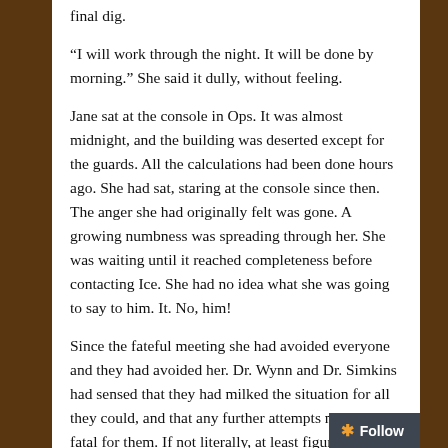final dig.
“I will work through the night. It will be done by morning.” She said it dully, without feeling.
Jane sat at the console in Ops. It was almost midnight, and the building was deserted except for the guards. All the calculations had been done hours ago. She had sat, staring at the console since then. The anger she had originally felt was gone. A growing numbness was spreading through her. She was waiting until it reached completeness before contacting Ice. She had no idea what she was going to say to him. It. No, him!
Since the fateful meeting she had avoided everyone and they had avoided her. Dr. Wynn and Dr. Simkins had sensed that they had milked the situation for all they could, and that any further attempts might be fatal for them. If not literally, at least figuratively. Dr. Christian had looked at her sadly and started to speak, but had not. What could he say? She had welcomed the isolation and worked doggedly on the calculations. Calculations wh